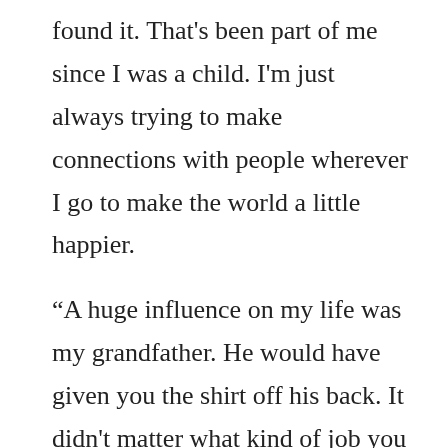found it. That's been part of me since I was a child. I'm just always trying to make connections with people wherever I go to make the world a little happier.

“A huge influence on my life was my grandfather. He would have given you the shirt off his back. It didn't matter what kind of job you had, what kind of car you drove, who you were, or who you weren't. He just treated everyone with such